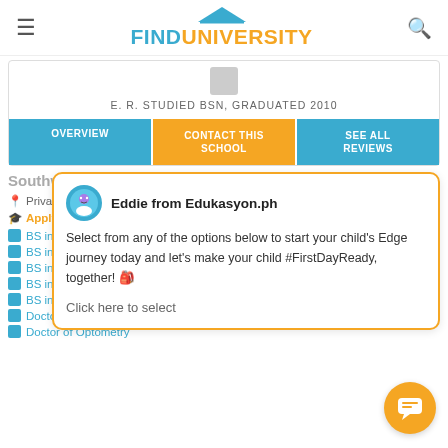FINDUNIVERSITY
E. R. STUDIED BSN, GRADUATED 2010
OVERVIEW | CONTACT THIS SCHOOL | SEE ALL REVIEWS
Eddie from Edukasyon.ph
Select from any of the options below to start your child's Edge journey today and let's make your child #FirstDayReady, together! 🎒
Click here to select
Southwest University
Private University
Apply to Southwest University
BS in Nursing
BS in Medicine
BS in Pharmacy
BS in Physical Therapy
BS in Occupational Therapy
Doctor of Veterinary Medicine
Doctor of Optometry